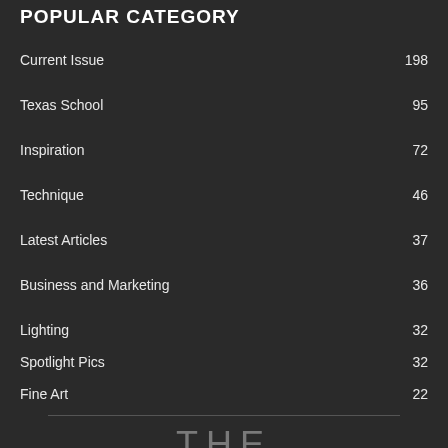POPULAR CATEGORY
Current Issue 198
Texas School 95
Inspiration 72
Technique 46
Latest Articles 37
Business and Marketing 36
Lighting 32
Spotlight Pics 32
Fine Art 22
THE